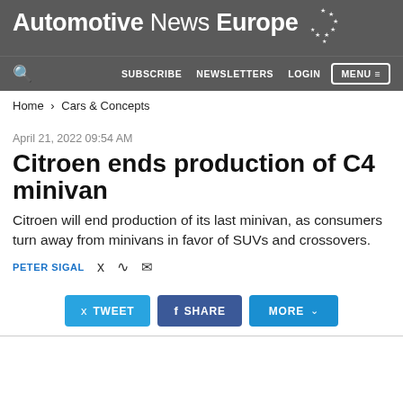Automotive News Europe
Home > Cars & Concepts
April 21, 2022 09:54 AM
Citroen ends production of C4 minivan
Citroen will end production of its last minivan, as consumers turn away from minivans in favor of SUVs and crossovers.
PETER SIGAL
TWEET  SHARE  MORE